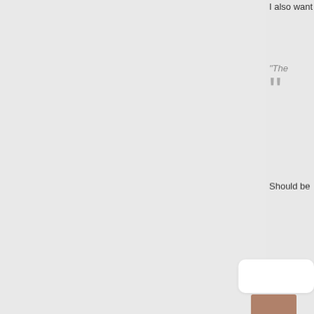I also want
“The
Should be
“The
Basically, y honest vote “an honest
I also notic things, but later.
[Figure (photo): Small photo of a person at bottom right of page]